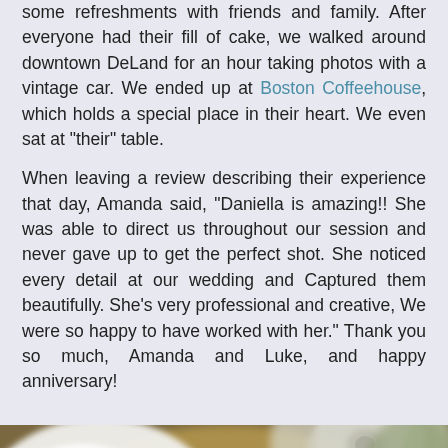some refreshments with friends and family. After everyone had their fill of cake, we walked around downtown DeLand for an hour taking photos with a vintage car. We ended up at Boston Coffeehouse, which holds a special place in their heart. We even sat at "their" table.
When leaving a review describing their experience that day, Amanda said, "Daniella is amazing!! She was able to direct us throughout our session and never gave up to get the perfect shot. She noticed every detail at our wedding and Captured them beautifully. She's very professional and creative, We were so happy to have worked with her." Thank you so much, Amanda and Luke, and happy anniversary!
[Figure (photo): Close-up photo of wedding rings stacked together, surrounded by white roses and flowers with a warm golden and green background.]